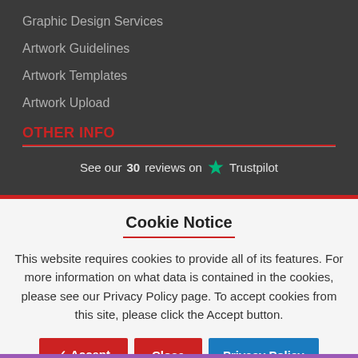Graphic Design Services
Artwork Guidelines
Artwork Templates
Artwork Upload
OTHER INFO
See our 30 reviews on ★ Trustpilot
Cookie Notice
This website requires cookies to provide all of its features. For more information on what data is contained in the cookies, please see our Privacy Policy page. To accept cookies from this site, please click the Accept button.